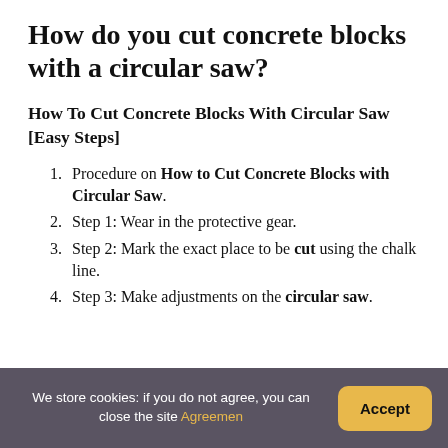How do you cut concrete blocks with a circular saw?
How To Cut Concrete Blocks With Circular Saw [Easy Steps]
Procedure on How to Cut Concrete Blocks with Circular Saw.
Step 1: Wear in the protective gear.
Step 2: Mark the exact place to be cut using the chalk line.
Step 3: Make adjustments on the circular saw.
We store cookies: if you do not agree, you can close the site Agreemen   Accept